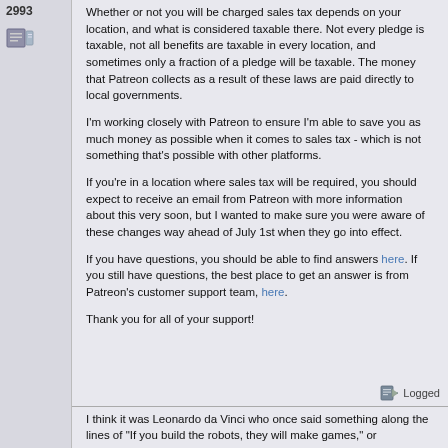2993
Whether or not you will be charged sales tax depends on your location, and what is considered taxable there. Not every pledge is taxable, not all benefits are taxable in every location, and sometimes only a fraction of a pledge will be taxable. The money that Patreon collects as a result of these laws are paid directly to local governments.
I'm working closely with Patreon to ensure I'm able to save you as much money as possible when it comes to sales tax - which is not something that's possible with other platforms.
If you're in a location where sales tax will be required, you should expect to receive an email from Patreon with more information about this very soon, but I wanted to make sure you were aware of these changes way ahead of July 1st when they go into effect.
If you have questions, you should be able to find answers here. If you still have questions, the best place to get an answer is from Patreon's customer support team, here.
Thank you for all of your support!
Logged
I think it was Leonardo da Vinci who once said something along the lines of "If you build the robots, they will make games," or...